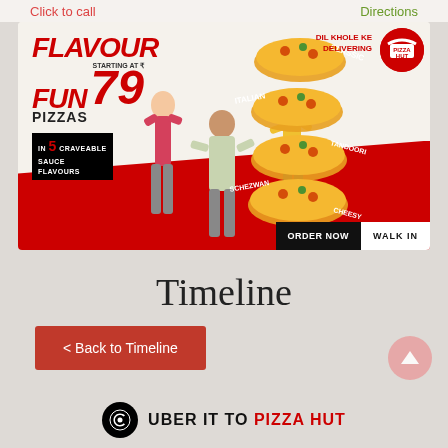Click to call
Directions
[Figure (photo): Pizza Hut Flavour Fun Pizzas advertisement banner. Text reads: FLAVOUR FUN PIZZAS starting at ₹79, IN 5 CRAVEABLE SAUCE FLAVOURS. Shows stacked pizzas labeled CLASSIC, ITALIAN, TANDOORI, SCHEZWAN, CHEESY. Pizza Hut logo. DIL KHOLE KE DELIVERING. ORDER NOW | WALK IN buttons.]
Timeline
< Back to Timeline
UBER IT TO PIZZA HUT